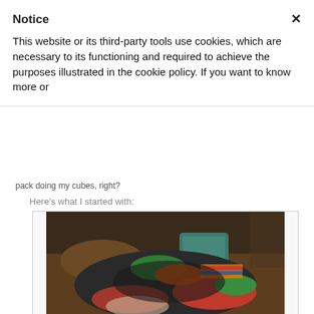Notice
This website or its third-party tools use cookies, which are necessary to its functioning and required to achieve the purposes illustrated in the cookie policy. If you want to know more or
pack doing my cubes, right?
Here's what I started with:
[Figure (photo): A pile of colorful clothing and items heaped on a brown sofa/bed, photographed in a dark room. Various garments including red, green, and dark colored clothes are visible.]
Step One. A girl's got needs. And I consider myself fairly low-maintenance.
I used three of our five cubes: the smallest, one medium, and one large. Still had two left from the five piece set for Aaron to use. I